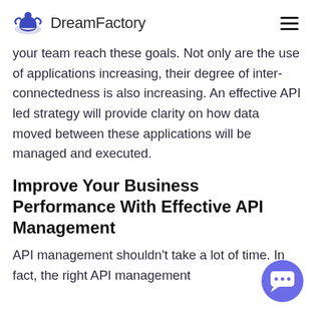DreamFactory
your team reach these goals. Not only are the use of applications increasing, their degree of inter-connectedness is also increasing. An effective API led strategy will provide clarity on how data moved between these applications will be managed and executed.
Improve Your Business Performance With Effective API Management
API management shouldn't take a lot of time. In fact, the right API management